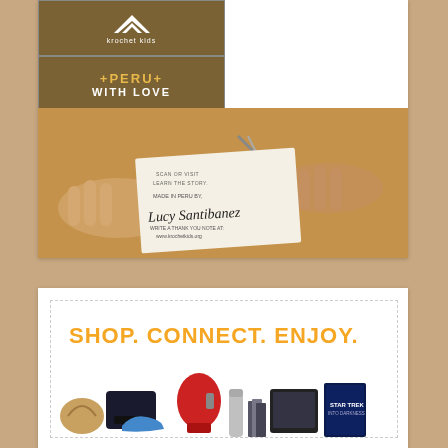[Figure (advertisement): Krochet Kids advertisement with logo, '+PERU+ WITH LOVE' text, '#KNOWWHOMADEIT' hashtag, 'SHOP NOW' call to action, and a photo of hands holding a handwritten label signed 'Made in Peru by Lucy Santibanez' with website www.krochetkids.org]
[Figure (advertisement): Advertisement with orange bold text 'SHOP. CONNECT. ENJOY.' and various product images including a handbag, gaming console, kitchen mixer, shoes, thermos, books, tablet/e-reader, and Star Trek movie case]